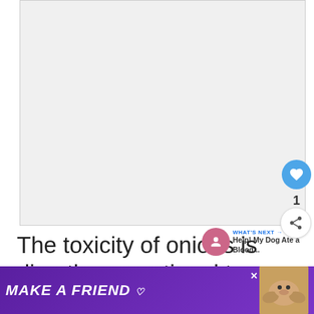[Figure (photo): Large blank/white image placeholder area occupying the top portion of the page]
The toxicity of onions is directly proportional to the amount consumed.
[Figure (infographic): WHAT'S NEXT arrow label with pink circular icon and text 'Help! My Dog Ate a Blood...']
[Figure (infographic): Advertisement banner: MAKE A FRIEND with purple background, dog image, heart icons, and close button]